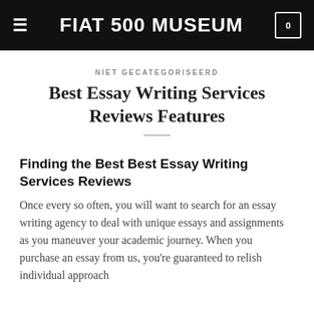FIAT 500 MUSEUM
NIET GECATEGORISEERD
Best Essay Writing Services Reviews Features
Finding the Best Best Essay Writing Services Reviews
Once every so often, you will want to search for an essay writing agency to deal with unique essays and assignments as you maneuver your academic journey. When you purchase an essay from us, you're guaranteed to relish individual approach